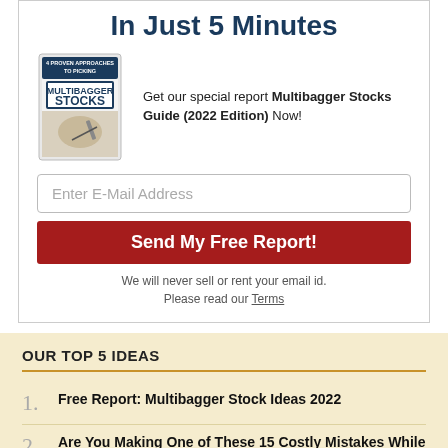In Just 5 Minutes
[Figure (illustration): Book cover of '4 Proven Approaches to Picking Multibagger Stocks' showing a book with text and a hand holding a pen]
Get our special report Multibagger Stocks Guide (2022 Edition) Now!
Enter E-Mail Address
Send My Free Report!
We will never sell or rent your email id. Please read our Terms
OUR TOP 5 IDEAS
Free Report: Multibagger Stock Ideas 2022
Are You Making One of These 15 Costly Mistakes While Investing. Learn more!
3 Next-Generation Defence Stocks: Potential